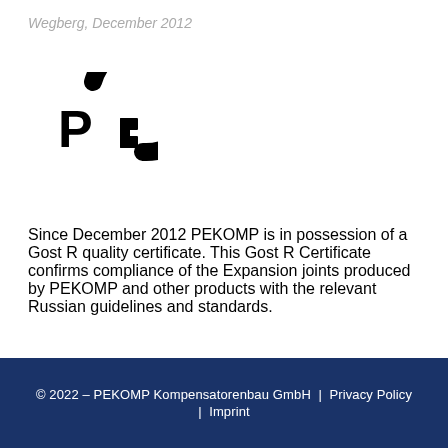Wegberg, December 2012
[Figure (logo): GOST R certification mark logo — black circular symbol with stylized 'P' and 'C' letters forming a quality mark]
Since December 2012 PEKOMP is in possession of a Gost R quality certificate. This Gost R Certificate confirms compliance of the Expansion joints produced by PEKOMP and other products with the relevant Russian guidelines and standards.
© 2022 – PEKOMP Kompensatorenbau GmbH | Privacy Policy | Imprint